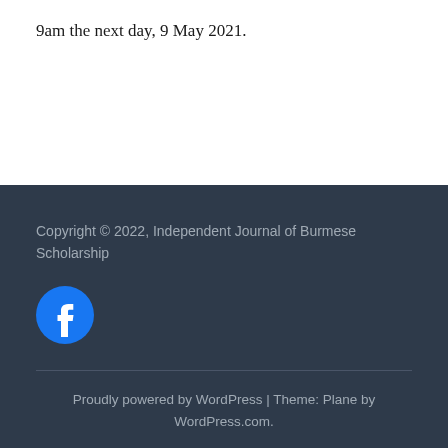9am the next day, 9 May 2021.
Copyright © 2022, Independent Journal of Burmese Scholarship
[Figure (logo): Facebook logo icon — blue circle with white 'f' letter]
Proudly powered by WordPress | Theme: Plane by WordPress.com.